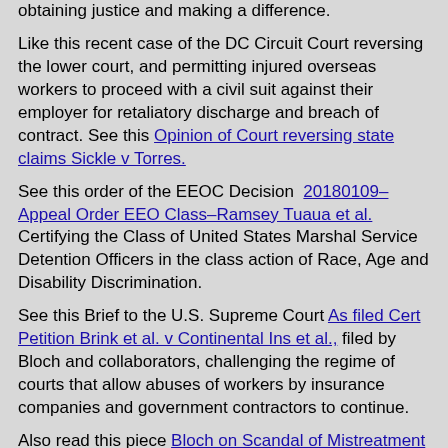obtaining justice and making a difference.
Like this recent case of the DC Circuit Court reversing the lower court, and permitting injured overseas workers to proceed with a civil suit against their employer for retaliatory discharge and breach of contract. See this Opinion of Court reversing state claims Sickle v Torres.
See this order of the EEOC Decision 20180109–Appeal Order EEO Class–Ramsey Tuaua et al. Certifying the Class of United States Marshal Service Detention Officers in the class action of Race, Age and Disability Discrimination.
See this Brief to the U.S. Supreme Court As filed Cert Petition Brink et al. v Continental Ins et al., filed by Bloch and collaborators, challenging the regime of courts that allow abuses of workers by insurance companies and government contractors to continue.
Also read this piece Bloch on Scandal of Mistreatment of Veterans Fighting for America as Contractors, Bloch on aviation safety on national whistleblower issues by Bloch, addressing his role in overcoming odds, or this piece Washington Times Bloch Editorial on Hatch Act Report reflecting how he combated partisanship in national decision making. He appeared internationally in the documentary "Fogotten Heroes" about the plight of contractors abroad who are injured and mistreated by the contracting companies and